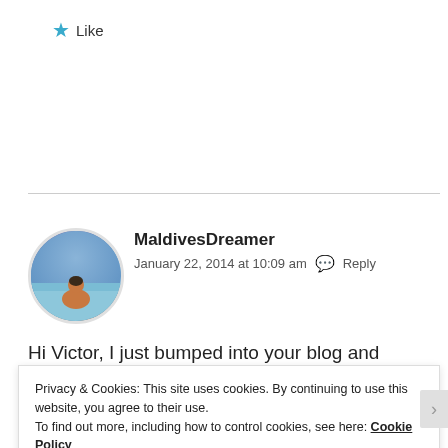★ Like
[Figure (photo): Circular avatar photo of a person sitting in shallow tropical water, viewed from behind, with blue sky and sandy beach in background — represents user MaldivesDreamer]
MaldivesDreamer
January 22, 2014 at 10:09 am  💬 Reply
Hi Victor, I just bumped into your blog and wanted to tell
Privacy & Cookies: This site uses cookies. By continuing to use this website, you agree to their use.
To find out more, including how to control cookies, see here: Cookie Policy
Close and accept